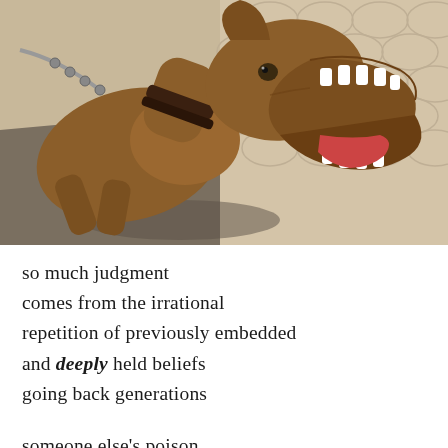[Figure (photo): A brown dog on a chain/leash lunging and barking aggressively with mouth wide open showing teeth, on a patterned cobblestone or tile surface in bright sunlight.]
so much judgment
comes from the irrational
repetition of previously embedded
and deeply held beliefs
going back generations

someone else's poison
muddying the innocence